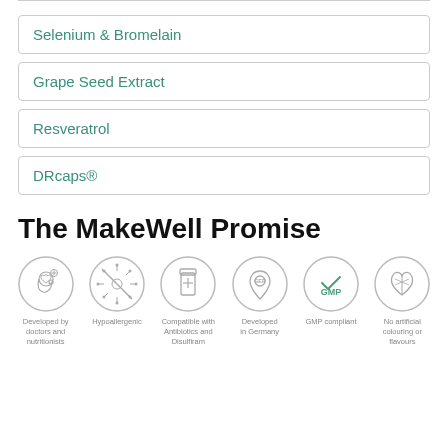Selenium & Bromelain
Grape Seed Extract
Resveratrol
DRcaps®
The MakeWell Promise
[Figure (infographic): Six circular icons representing MakeWell promises: Developed by doctors and nutritionists, Hypoallergenic, Compatible with Antibiotics and Disulfiram, Developed in Germany, GMP compliant, No artificial colouring or flavours]